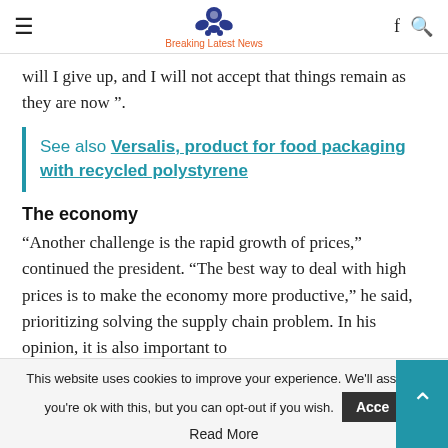Breaking Latest News
will I give up, and I will not accept that things remain as they are now”.
See also  Versalis, product for food packaging with recycled polystyrene
The economy
“Another challenge is the rapid growth of prices,” continued the president. “The best way to deal with high prices is to make the economy more productive,” he said, prioritizing solving the supply chain problem. In his opinion, it is also important to
This website uses cookies to improve your experience. We'll assume you're ok with this, but you can opt-out if you wish.
Read More